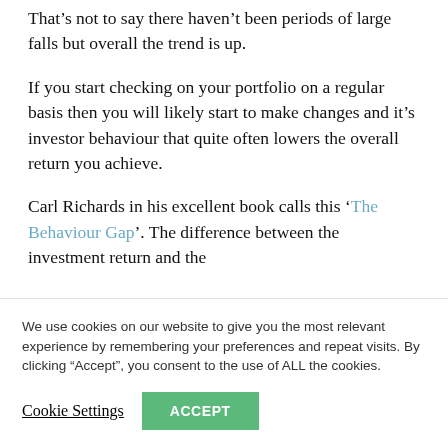That's not to say there haven't been periods of large falls but overall the trend is up.
If you start checking on your portfolio on a regular basis then you will likely start to make changes and it's investor behaviour that quite often lowers the overall return you achieve.
Carl Richards in his excellent book calls this 'The Behaviour Gap'. The difference between the investment return and the...
We use cookies on our website to give you the most relevant experience by remembering your preferences and repeat visits. By clicking "Accept", you consent to the use of ALL the cookies.
Cookie Settings
ACCEPT